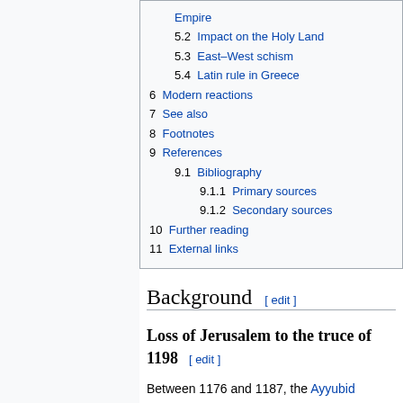Empire
5.2 Impact on the Holy Land
5.3 East–West schism
5.4 Latin rule in Greece
6 Modern reactions
7 See also
8 Footnotes
9 References
9.1 Bibliography
9.1.1 Primary sources
9.1.2 Secondary sources
10 Further reading
11 External links
Background [ edit ]
Loss of Jerusalem to the truce of 1198 [ edit ]
Between 1176 and 1187, the Ayyubid